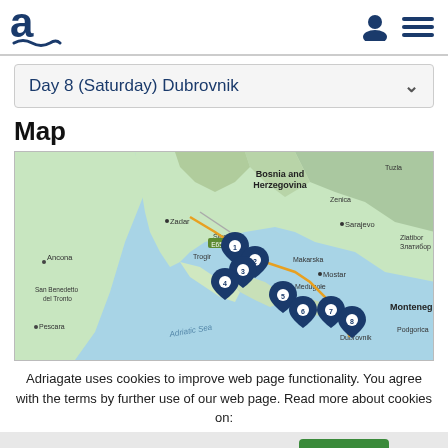Adriagate logo and navigation
Day 8 (Saturday) Dubrovnik
Map
[Figure (map): Map showing the Adriatic coast of Croatia, Bosnia and Herzegovina, and Montenegro. Eight numbered pin markers along the Dalmatian coast from Split area down to Dubrovnik area. Visible cities include Zadar, Sibenik, Trogir, Split, Makarska, Mostar, Dubrovnik, Ancona, San Benedetto del Tronto, Pescara, Sarajevo, Zlatibor, Podgorica, Tuzla, Zenica. Water labeled as Adriatic Sea. Countries labeled: Bosnia and Herzegovina, Montenegro.]
Adriagate uses cookies to improve web page functionality. You agree with the terms by further use of our web page. Read more about cookies on:
Kies gewenste um
Privacy Policy   Sluiten